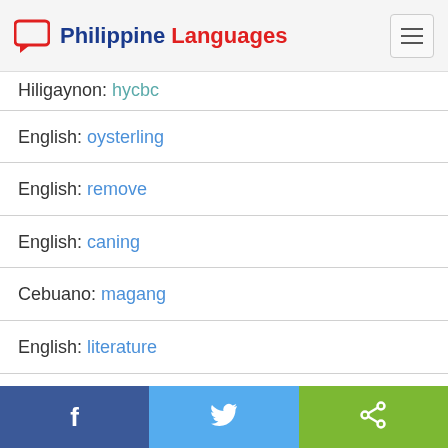Philippine Languages
Hiligaynon: hycbc
English: oysterling
English: remove
English: caning
Cebuano: magang
English: literature
English: so
Facebook | Twitter | Share